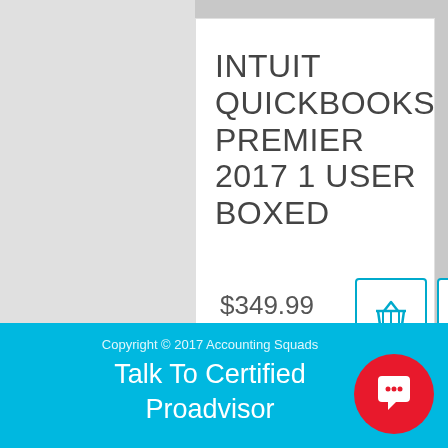INTUIT QUICKBOOKS PREMIER 2017 1 USER BOXED
$349.99
[Figure (screenshot): Shopping cart icon button and wishlist/heart-plus icon button, both outlined in cyan/blue, inside white square bordered boxes]
Copyright © 2017 Accounting Squads
Talk To Certified Proadvisor